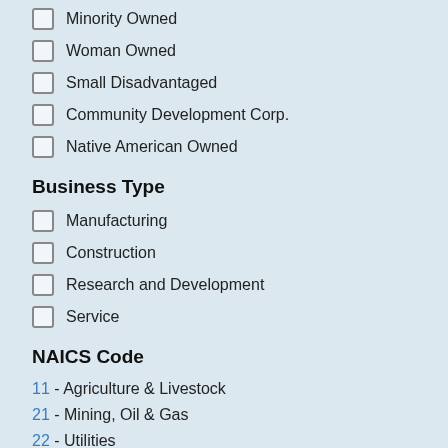Minority Owned
Woman Owned
Small Disadvantaged
Community Development Corp.
Native American Owned
Business Type
Manufacturing
Construction
Research and Development
Service
NAICS Code
11 - Agriculture & Livestock
21 - Mining, Oil & Gas
22 - Utilities
23 - Construction
31 - Food & Apparel